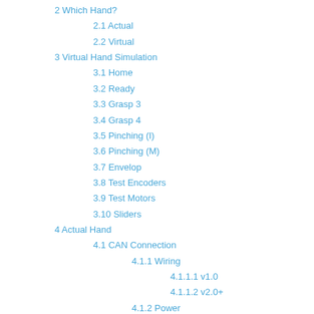2 Which Hand?
2.1 Actual
2.2 Virtual
3 Virtual Hand Simulation
3.1 Home
3.2 Ready
3.3 Grasp 3
3.4 Grasp 4
3.5 Pinching (I)
3.6 Pinching (M)
3.7 Envelop
3.8 Test Encoders
3.9 Test Motors
3.10 Sliders
4 Actual Hand
4.1 CAN Connection
4.1.1 Wiring
4.1.1.1 v1.0
4.1.1.2 v2.0+
4.1.2 Power
4.2 AHAS
5 Quitting